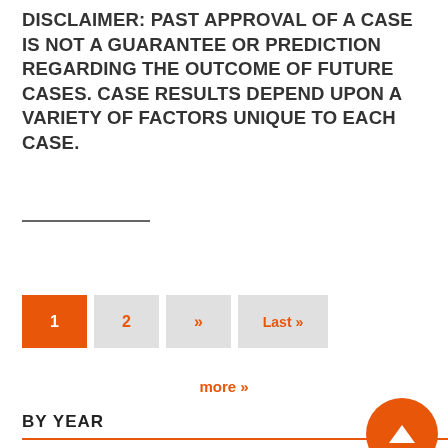DISCLAIMER: PAST APPROVAL OF A CASE IS NOT A GUARANTEE OR PREDICTION REGARDING THE OUTCOME OF FUTURE CASES. CASE RESULTS DEPEND UPON A VARIETY OF FACTORS UNIQUE TO EACH CASE.
1  2  »  Last »
more »
BY YEAR
2022 (8)